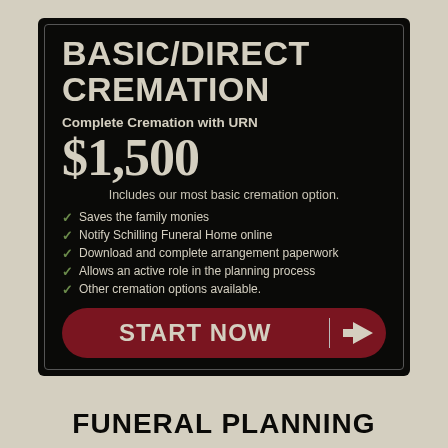BASIC/DIRECT CREMATION
Complete Cremation with URN
$1,500
Includes our most basic cremation option.
Saves the family monies
Notify Schilling Funeral Home online
Download and complete arrangement paperwork
Allows an active role in the planning process
Other cremation options available.
START NOW →
FUNERAL PLANNING